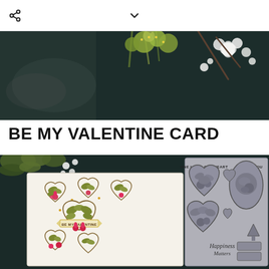[Figure (photo): Top navigation bar with share icon on left and chevron/dropdown icon in center on white background]
[Figure (photo): Hero banner photo of white flowers and green plants arranged on a dark teal/black background]
BE MY VALENTINE CARD
[Figure (photo): Two product photos side by side on dark background: left is a handmade Valentine card with floral heart patterns and 'BE MY VALENTINE' banner text in gold and red; right is a gray rubber stamp set showing heart shapes with floral details, text reading 'ONE LOVE, ONE HEART', 'J'ADORE YOU', and 'Happiness Matters']